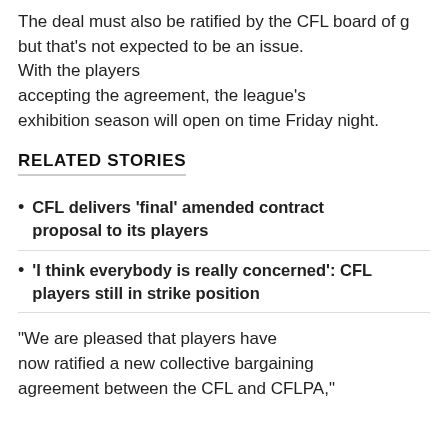The deal must also be ratified by the CFL board of g… but that's not expected to be an issue. With the players accepting the agreement, the league's exhibition season will open on time Friday night.
RELATED STORIES
CFL delivers 'final' amended contract proposal to its players
'I think everybody is really concerned': CFL players still in strike position
"We are pleased that players have now ratified a new collective bargaining agreement between the CFL and CFLPA,"